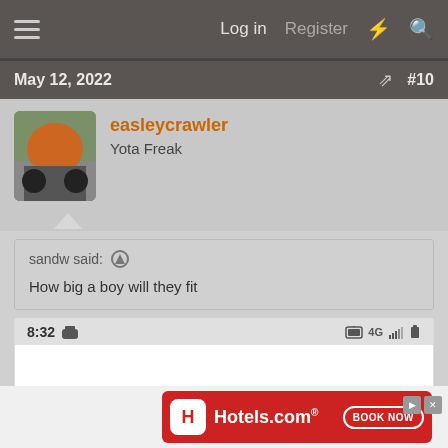Log in   Register
May 12, 2022   #10
easleycrawler
Yota Freak
sandw said: ↑
How big a boy will they fit
[Figure (screenshot): Phone screenshot showing status bar with time 8:32 and icons including 4G signal, clock, battery]
[Figure (infographic): Hotels.com advertisement banner with red background, Hotels.com logo, and BOOK NOW button]